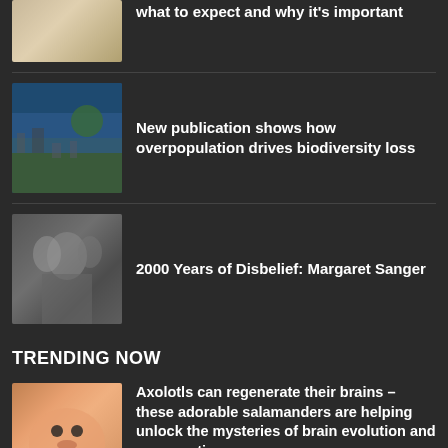what to expect and why it's important
New publication shows how overpopulation drives biodiversity loss
2000 Years of Disbelief: Margaret Sanger
TRENDING NOW
Axolotls can regenerate their brains – these adorable salamanders are helping unlock the mysteries of brain evolution and regeneration
Biden Tells Trump He Can't Destroy Our Democracy. But is...